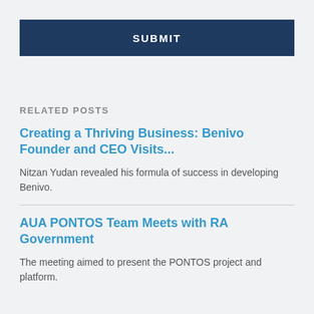SUBMIT
RELATED POSTS
Creating a Thriving Business: Benivo Founder and CEO Visits...
Nitzan Yudan revealed his formula of success in developing Benivo.
AUA PONTOS Team Meets with RA Government
The meeting aimed to present the PONTOS project and platform.